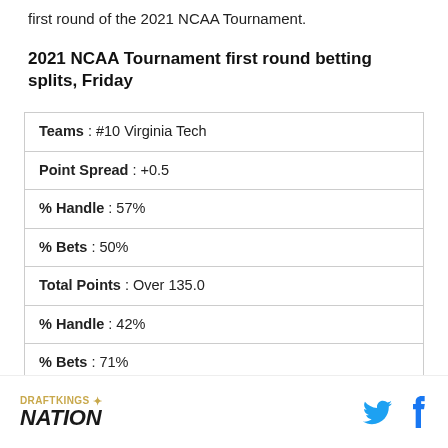first round of the 2021 NCAA Tournament.
2021 NCAA Tournament first round betting splits, Friday
| Teams : #10 Virginia Tech |
| Point Spread : +0.5 |
| % Handle : 57% |
| % Bets : 50% |
| Total Points : Over 135.0 |
| % Handle : 42% |
| % Bets : 71% |
| Moneyline : -112 |
DRAFTKINGS NATION